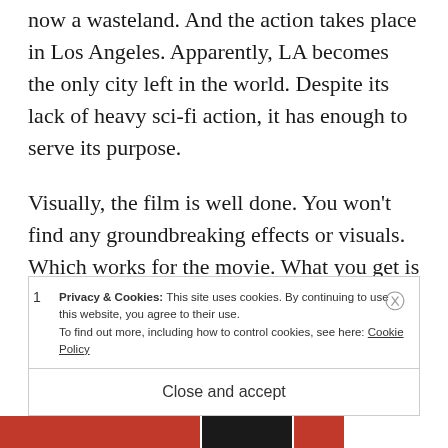now a wasteland. And the action takes place in Los Angeles. Apparently, LA becomes the only city left in the world. Despite its lack of heavy sci-fi action, it has enough to serve its purpose.
Visually, the film is well done. You won't find any groundbreaking effects or visuals. Which works for the movie. What you get is a (mostly) believable Earth that has been devastated by
Privacy & Cookies: This site uses cookies. By continuing to use this website, you agree to their use.
To find out more, including how to control cookies, see here: Cookie Policy
Close and accept